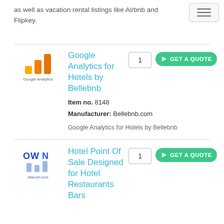as well as vacation rental listings like Airbnb and Flipkey.
[Figure (logo): Google Analytics logo with orange/yellow bar chart icon and 'Google Analytics' text]
Google Analytics for Hotels by Bellebnb
Item no. 8148
Manufacturer: Bellebnb.com
Google Analytics for Hotels by Bellebnb
[Figure (logo): Atavoli.com logo with blue OWN text and bar chart icon]
Hotel Point Of Sale Designed for Hotel Restaurants Bars